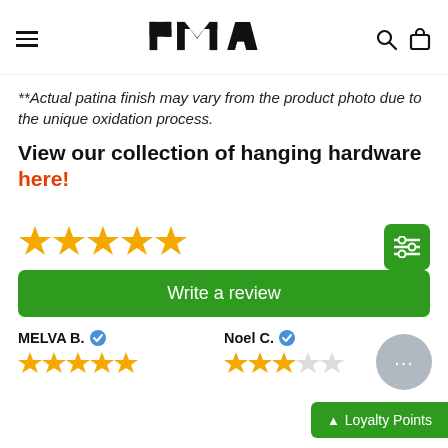PMA (logo), search icon, bag icon
**Actual patina finish may vary from the product photo due to the unique oxidation process.
View our collection of hanging hardware here!
[Figure (other): Five gold star rating icons]
Write a review
MELVA B. (verified)
[Figure (other): Five gold star rating icons for MELVA B.]
Noel C. (verified)
[Figure (other): Three gold stars and one empty star for Noel C.]